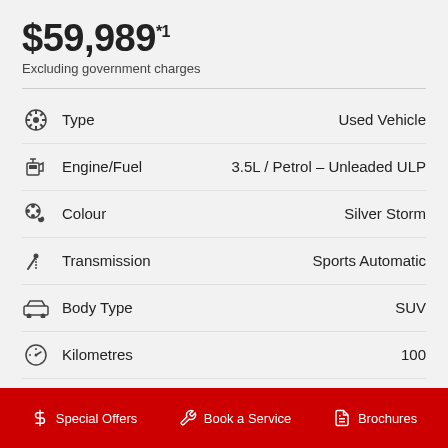$59,989*1
Excluding government charges
| Attribute | Value |
| --- | --- |
| Type | Used Vehicle |
| Engine/Fuel | 3.5L / Petrol – Unleaded ULP |
| Colour | Silver Storm |
| Transmission | Sports Automatic |
| Body Type | SUV |
| Kilometres | 100 |
| VIN | 5TDLZ3AH80S091962 |
| Stock No. | 0022073 |
Special Offers   Book a Service   Brochures